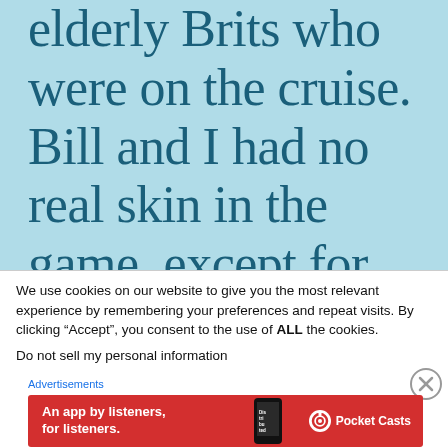elderly Brits who were on the cruise. Bill and I had no real skin in the game, except for our own Irish heritage. Turns
We use cookies on our website to give you the most relevant experience by remembering your preferences and repeat visits. By clicking “Accept”, you consent to the use of ALL the cookies.
Do not sell my personal information
[Figure (screenshot): Advertisement banner for Pocket Casts app with red background, white text reading 'An app by listeners, for listeners.' and Pocket Casts logo on the right.]